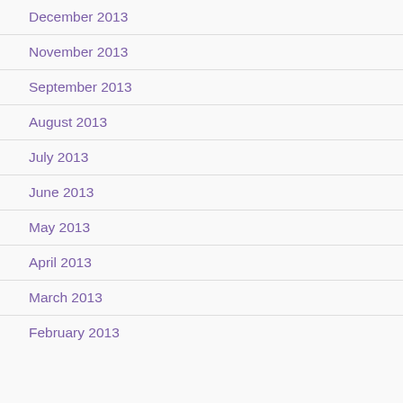December 2013
November 2013
September 2013
August 2013
July 2013
June 2013
May 2013
April 2013
March 2013
February 2013